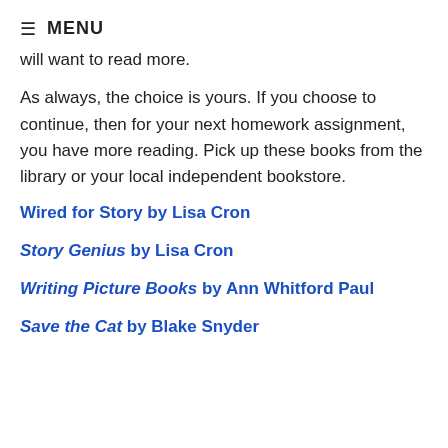≡ MENU
will want to read more.
As always, the choice is yours. If you choose to continue, then for your next homework assignment, you have more reading. Pick up these books from the library or your local independent bookstore.
Wired for Story by Lisa Cron
Story Genius by Lisa Cron
Writing Picture Books by Ann Whitford Paul
Save the Cat by Blake Snyder